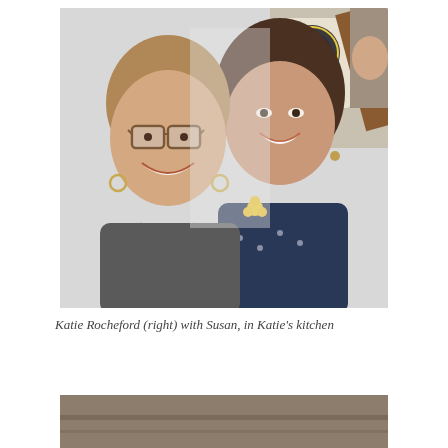[Figure (photo): Two women smiling for a selfie photo taken inside a kitchen. The woman on the left has short light brown hair and glasses with hoop earrings, wearing a gray top. The woman on the right has long dark brown hair, wearing a dark navy blue top. In the background there is a 'Kindness Matters' poster and other decorations on the wall.]
Katie Rocheford (right) with Susan, in Katie's kitchen
[Figure (photo): Partial view of another photo at the bottom of the page, showing what appears to be an indoor scene, partially cropped.]